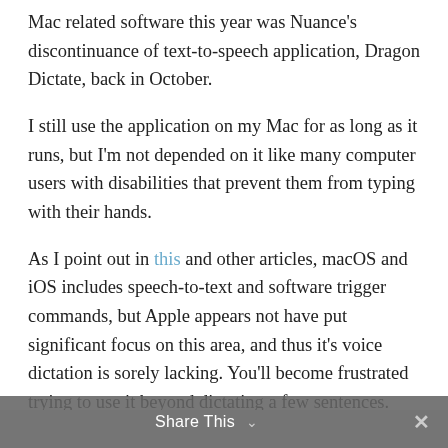Mac related software this year was Nuance's discontinuance of text-to-speech application, Dragon Dictate, back in October.
I still use the application on my Mac for as long as it runs, but I'm not depended on it like many computer users with disabilities that prevent them from typing with their hands.
As I point out in this and other articles, macOS and iOS includes speech-to-text and software trigger commands, but Apple appears not have put significant focus on this area, and thus it's voice dictation is sorely lacking. You'll become frustrated trying to use it beyond dictating a few sentences. However, the computer commands could be useful,
Share This ∨  ✕